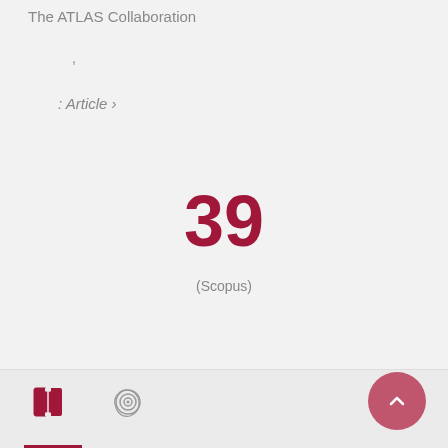The ATLAS Collaboration
,
: Article ›
39
(Scopus)